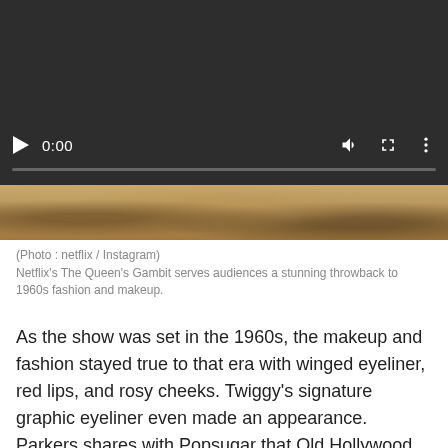[Figure (screenshot): Video player interface showing a dark background with playback controls including a play button, time display '0:00', a progress bar, volume icon, fullscreen icon, and a more options icon. Below the controls is a thumbnail strip showing a blurry warm-toned image.]
(Photo : netflix / Instagram)
Netflix's The Queen's Gambit serves audiences a stunning throwback to 1960s fashion and makeup.
As the show was set in the 1960s, the makeup and fashion stayed true to that era with winged eyeliner, red lips, and rosy cheeks. Twiggy's signature graphic eyeliner even made an appearance. Parkers shares with Popsugar that Old Hollywood starlets like Marilyn Monroe, Grace Kelly, and Natalie Wood influenced Beth's beauty looks.